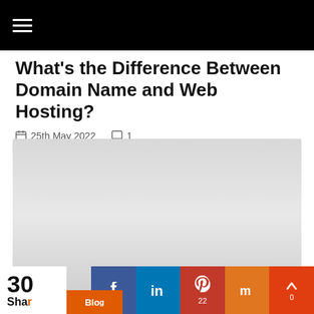≡ (hamburger menu navigation bar)
What's the Difference Between Domain Name and Web Hosting?
25th May 2022  1
[Figure (photo): Large light grey placeholder image for article illustration]
30 Shares — social share bar with Blog, Facebook, LinkedIn, Pinterest, Mix, and scroll-up buttons